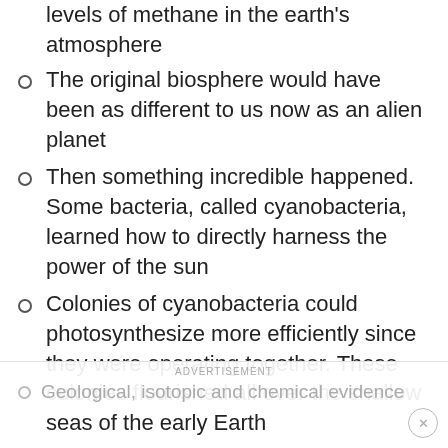levels of methane in the earth's atmosphere
The original biosphere would have been as different to us now as an alien planet
Then something incredible happened. Some bacteria, called cyanobacteria, learned how to directly harness the power of the sun
Colonies of cyanobacteria could photosynthesize more efficiently since they were operating together. These colonies flourished all over the shallow seas of the early Earth
They photosynthesized faster than oxygen could be bound by elements like iron. Instead, oxygen gas built up at higher and higher percentages in the atmosphere
ADVERTISEMENT
Geological, isotopic and chemical evidence